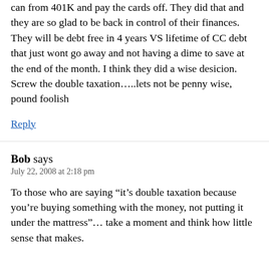can from 401K and pay the cards off. They did that and they are so glad to be back in control of their finances. They will be debt free in 4 years VS lifetime of CC debt that just wont go away and not having a dime to save at the end of the month. I think they did a wise desicion. Screw the double taxation…..lets not be penny wise, pound foolish
Reply
Bob says
July 22, 2008 at 2:18 pm
To those who are saying “it’s double taxation because you’re buying something with the money, not putting it under the mattress”… take a moment and think how little sense that makes.